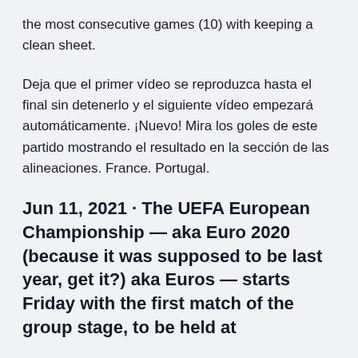the most consecutive games (10) with keeping a clean sheet.
Deja que el primer vídeo se reproduzca hasta el final sin detenerlo y el siguiente vídeo empezará automáticamente. ¡Nuevo! Mira los goles de este partido mostrando el resultado en la sección de las alineaciones. France. Portugal.
Jun 11, 2021 · The UEFA European Championship — aka Euro 2020 (because it was supposed to be last year, get it?) aka Euros — starts Friday with the first match of the group stage, to be held at